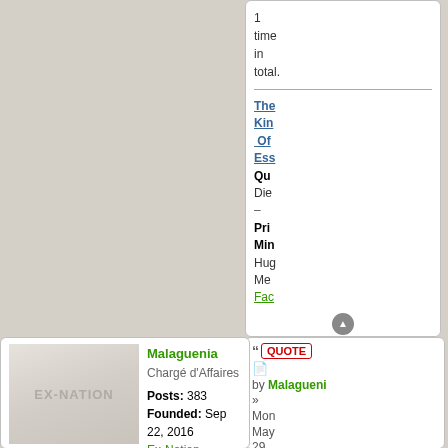1 time in total.
The Kin Of Ess Qu Die – Pri Min Hug Me Fac
[Figure (illustration): EX-NATION placeholder flag image in grey tones]
QUOTE by Malaguenia » Mon May 29, 2017 10:13 am
Malaguenia
Chargé d'Affaires
Posts: 383
Founded: Sep 22, 2016
Ex-Nation
Ow